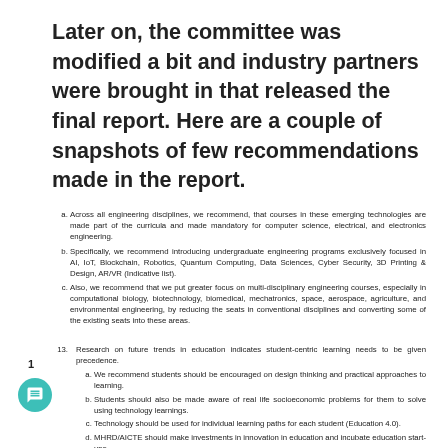Later on, the committee was modified a bit and industry partners were brought in that released the final report. Here are a couple of snapshots of few recommendations made in the report.
a. Across all engineering disciplines, we recommend, that courses in these emerging technologies are made part of the curricula and made mandatory for computer science, electrical, and electronics engineering.
b. Specifically, we recommend introducing undergraduate engineering programs exclusively focused in AI, IoT, Blockchain, Robotics, Quantum Computing, Data Sciences, Cyber Security, 3D Printing & Design, AR/VR (Indicative list).
c. Also, we recommend that we put greater focus on multi-disciplinary engineering courses, especially in computational biology, biotechnology, biomedical, mechatronics, space, aerospace, agriculture, and environmental engineering, by reducing the seats in conventional disciplines and converting some of the existing seats into these areas.
13. Research on future trends in education indicates student-centric learning needs to be given precedence.
a. We recommend students should be encouraged on design thinking and practical approaches to learning.
b. Students should also be made aware of real life socioeconomic problems for them to solve using technology learnings.
c. Technology should be used for individual learning paths for each student (Education 4.0).
d. MHRD/AICTE should make investments in innovation in education and incubate education start-ups.